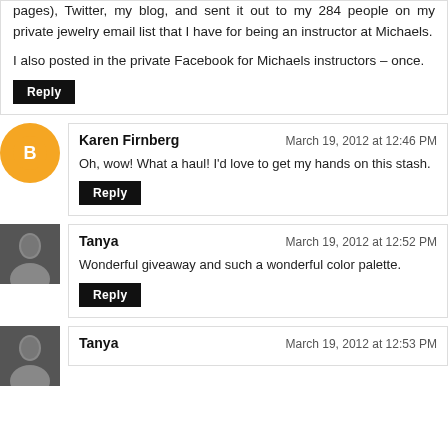pages), Twitter, my blog, and sent it out to my 284 people on my private jewelry email list that I have for being an instructor at Michaels.
I also posted in the private Facebook for Michaels instructors – once.
Reply
Karen Firnberg
March 19, 2012 at 12:46 PM
Oh, wow! What a haul! I'd love to get my hands on this stash.
Reply
Tanya
March 19, 2012 at 12:52 PM
Wonderful giveaway and such a wonderful color palette.
Reply
Tanya
March 19, 2012 at 12:53 PM